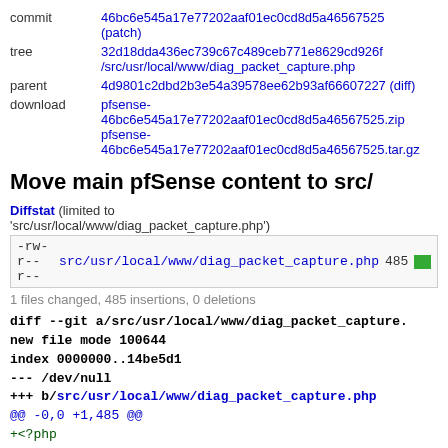| commit | 46bc6e545a17e77202aaf01ec0cd8d5a46567525 (patch) |
| tree | 32d18dda436ec739c67c489ceb771e8629cd926f /src/usr/local/www/diag_packet_capture.php |
| parent | 4d9801c2dbd2b3e54a39578ee62b93af66607227 (diff) |
| download | pfsense-46bc6e545a17e77202aaf01ec0cd8d5a46567525.zip
pfsense-46bc6e545a17e77202aaf01ec0cd8d5a46567525.tar.gz |
Move main pfSense content to src/
Diffstat (limited to 'src/usr/local/www/diag_packet_capture.php')
-rw-r--r-- src/usr/local/www/diag_packet_capture.php 485 [bar]
1 files changed, 485 insertions, 0 deletions
diff --git a/src/usr/local/www/diag_packet_capture.
new file mode 100644
index 0000000..14be5d1
--- /dev/null
+++ b/src/usr/local/www/diag_packet_capture.php
@@ -0,0 +1,485 @@
+<?php
+/*
+          diag_packet_capture.php
+          Copyright (C) 2013-2015 Electric Sheep Fenc
+          All rights reserved.